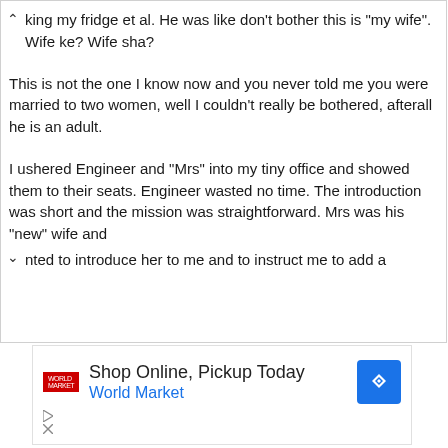king my fridge et al. He was like don't bother this is "my wife". Wife ke? Wife sha?
This is not the one I know now and you never told me you were married to two women, well I couldn't really be bothered, afterall he is an adult.
I ushered Engineer and "Mrs" into my tiny office and showed them to their seats. Engineer wasted no time. The introduction was short and the mission was straightforward. Mrs was his "new" wife and anted to introduce her to me and to instruct me to add a
[Figure (other): Advertisement banner: Shop Online, Pickup Today - World Market, with a blue diamond navigation icon and red logo]